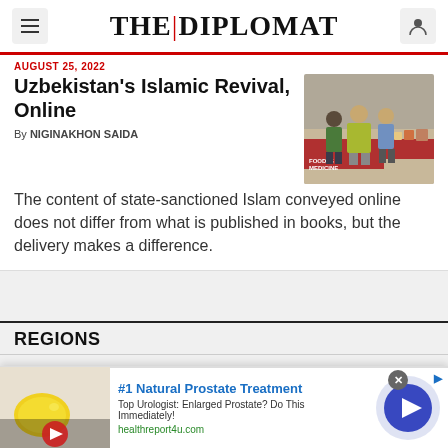THE DIPLOMAT
AUGUST 25, 2022
Uzbekistan's Islamic Revival, Online
By NIGINAKHON SAIDA
[Figure (photo): People at a food stand counter, graffiti reading 'Food is Medicine' on wall]
The content of state-sanctioned Islam conveyed online does not differ from what is published in books, but the delivery makes a difference.
REGIONS
[Figure (other): Advertisement: #1 Natural Prostate Treatment - Top Urologist: Enlarged Prostate? Do This Immediately! healthreport4u.com]